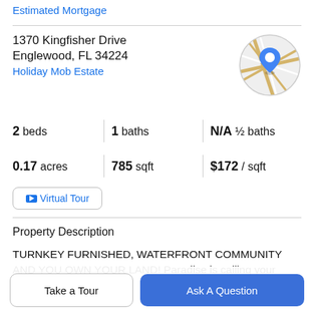Estimated Mortgage
1370 Kingfisher Drive
Englewood, FL 34224
Holiday Mob Estate
[Figure (map): Circular map thumbnail showing street map with blue location pin marker]
2 beds | 1 baths | N/A ½ baths
0.17 acres | 785 sqft | $172 / sqft
Virtual Tour
Property Description
TURNKEY FURNISHED, WATERFRONT COMMUNITY AND YOU OWN YOUR LAND! Paradise is calling your
Take a Tour
Ask A Question